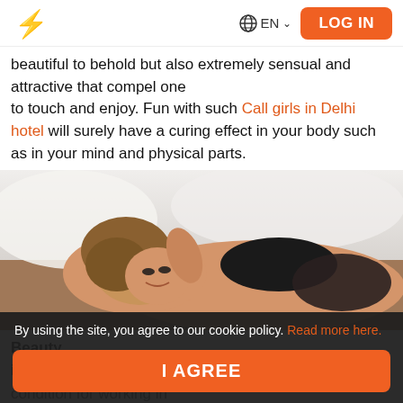Logo | EN | LOG IN
beautiful to behold but also extremely sensual and attractive that compel one to touch and enjoy. Fun with such Call girls in Delhi hotel will surely have a curing effect in your body such as in your mind and physical parts.
[Figure (photo): Woman posing on bed wearing black lingerie]
Beauty is one area which has been considered to be needful condition for working in this service industry. You cannot ignore body and fitness...such persons
By using the site, you agree to our cookie policy. Read more here.
I AGREE